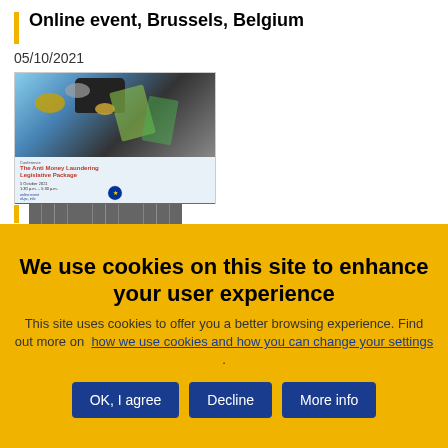Online event, Brussels, Belgium
05/10/2021
[Figure (illustration): Conference brochure image for 'The Anti Money Laundering Legislative Package' showing euro coins and banknotes in a dark wallet/purse, with a blue EU-branded conference programme below.]
We use cookies on this site to enhance your user experience
This site uses cookies to offer you a better browsing experience. Find out more on how we use cookies and how you can change your settings .